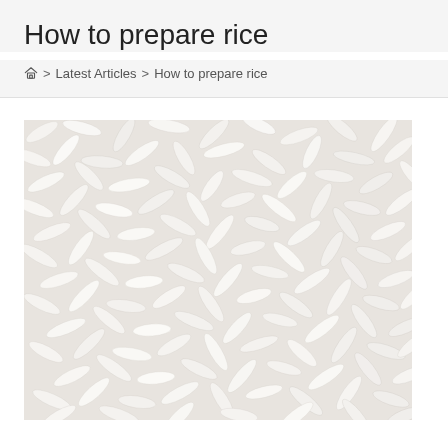How to prepare rice
Home > Latest Articles > How to prepare rice
[Figure (photo): Close-up photograph of uncooked white long-grain rice grains scattered densely, filling the entire frame. The rice grains are white and elongated, photographed from above on a light background.]